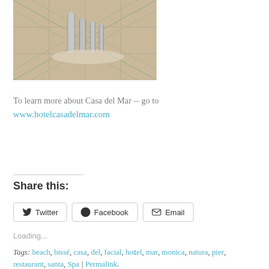[Figure (photo): Interior hotel photo showing decorative floor tiles and silver/metallic display items on a table]
To learn more about Casa del Mar – go to www.hotelcasadelmar.com
Share this:
Twitter  Facebook  Email
Loading...
Tags: beach, bissé, casa, del, facial, hotel, mar, monica, natura, pier, restaurant, santa, Spa | Permalink.